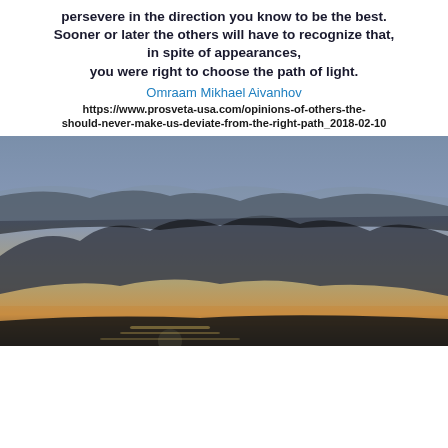persevere in the direction you know to be the best. Sooner or later the others will have to recognize that, in spite of appearances, you were right to choose the path of light.
Omraam Mikhael Aivanhov
https://www.prosveta-usa.com/opinions-of-others-the-should-never-make-us-deviate-from-the-right-path_2018-02-10
[Figure (photo): Sunset over water with dramatic clouds and bright light on the horizon]